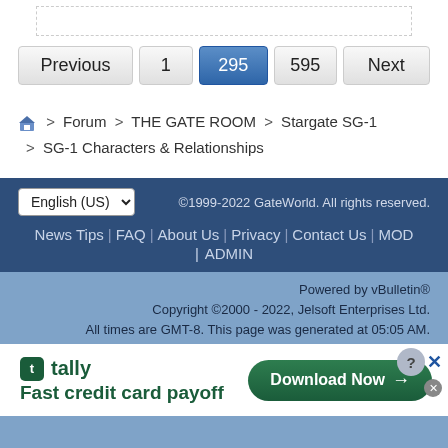[Figure (screenshot): Dashed border text input box at top of page]
Previous  1  295  595  Next
🏠 > Forum > THE GATE ROOM > Stargate SG-1 > SG-1 Characters & Relationships
English (US) ▾  ©1999-2022 GateWorld. All rights reserved.
News Tips | FAQ | About Us | Privacy | Contact Us | MOD | ADMIN
Powered by vBulletin®
Copyright ©2000 - 2022, Jelsoft Enterprises Ltd.
All times are GMT-8. This page was generated at 05:05 AM.
[Figure (other): Tally advertisement banner: Fast credit card payoff with Download Now button]